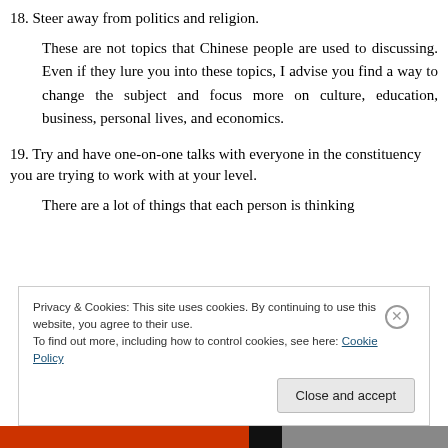18. Steer away from politics and religion.
These are not topics that Chinese people are used to discussing. Even if they lure you into these topics, I advise you find a way to change the subject and focus more on culture, education, business, personal lives, and economics.
19. Try and have one-on-one talks with everyone in the constituency you are trying to work with at your level.
There are a lot of things that each person is thinking
Privacy & Cookies: This site uses cookies. By continuing to use this website, you agree to their use.
To find out more, including how to control cookies, see here: Cookie Policy